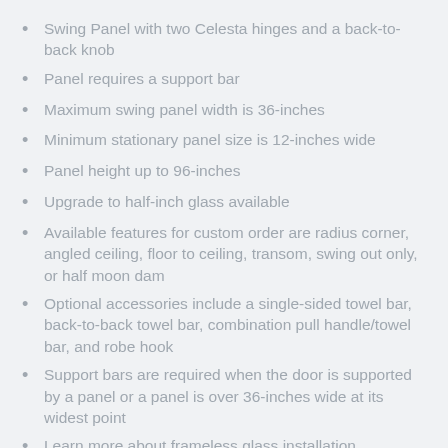Swing Panel with two Celesta hinges and a back-to-back knob
Panel requires a support bar
Maximum swing panel width is 36-inches
Minimum stationary panel size is 12-inches wide
Panel height up to 96-inches
Upgrade to half-inch glass available
Available features for custom order are radius corner, angled ceiling, floor to ceiling, transom, swing out only, or half moon dam
Optional accessories include a single-sided towel bar, back-to-back towel bar, combination pull handle/towel bar, and robe hook
Support bars are required when the door is supported by a panel or a panel is over 36-inches wide at its widest point
Learn more about frameless glass installation considerations here